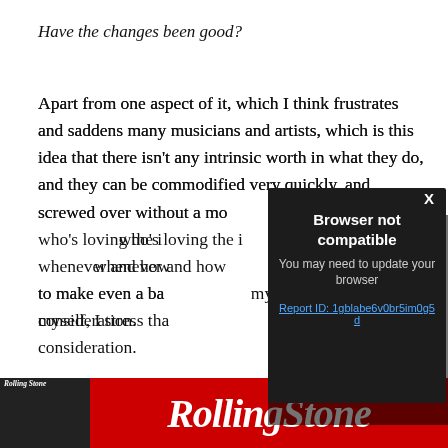Have the changes been good?
Apart from one aspect of it, which I think frustrates and saddens many musicians and artists, which is this idea that there isn't any intrinsic worth in what they do, and they can be commodified very quickly, and screwed over without a mo[ment's thought from whoever] who's loving the i[dea that they can get content] whenever and how[ever they want. My ability] to make even a ba[sic…] myself, I stress tha[t should be a fundamental] consideration.
[Figure (screenshot): Browser compatibility error modal overlay on dark background. Title: 'Browser not compatible'. Subtitle: 'You may need to update your browser'. Link: 'Report ID: 1gblabe6v0br5im0g5d'. Has an X close button in top right.]
[Figure (logo): Rolling Stone magazine advertisement banner. Red background with 'RollingStone' in large white italic serif font. Left side shows a dark image of magazine cover.]